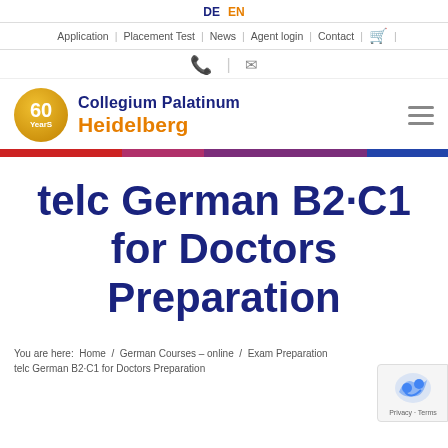DE  EN
Application | Placement Test | News | Agent login | Contact
[Figure (logo): 60 Years badge circle in gold with Collegium Palatinum Heidelberg text logo]
telc German B2·C1 for Doctors Preparation
You are here: Home / German Courses – online / Exam Preparation / telc German B2·C1 for Doctors Preparation